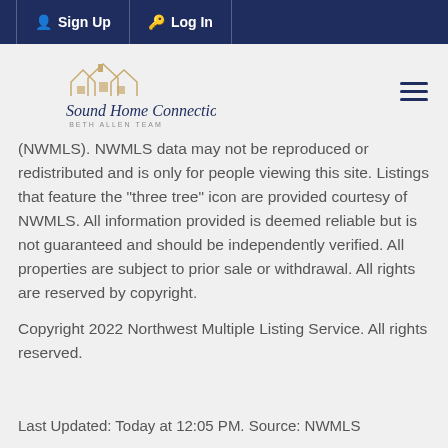Sign Up  Log In
[Figure (logo): Sound Home Connections – Beth Allen Team logo with house rooflines graphic]
(NWMLS). NWMLS data may not be reproduced or redistributed and is only for people viewing this site. Listings that feature the "three tree" icon are provided courtesy of NWMLS. All information provided is deemed reliable but is not guaranteed and should be independently verified. All properties are subject to prior sale or withdrawal. All rights are reserved by copyright.
Copyright 2022 Northwest Multiple Listing Service. All rights reserved.
Last Updated: Today at 12:05 PM. Source: NWMLS